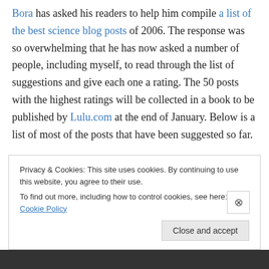Bora has asked his readers to help him compile a list of the best science blog posts of 2006. The response was so overwhelming that he has now asked a number of people, including myself, to read through the list of suggestions and give each one a rating. The 50 posts with the highest ratings will be collected in a book to be published by Lulu.com at the end of January. Below is a list of most of the posts that have been suggested so far.
UPDATE (January 4th, 2007): The complete list of suggestions is here.
Privacy & Cookies: This site uses cookies. By continuing to use this website, you agree to their use.
To find out more, including how to control cookies, see here: Cookie Policy